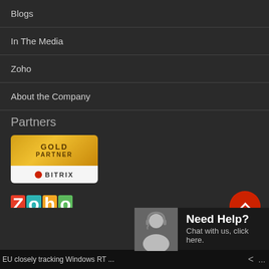Blogs
In The Media
Zoho
About the Company
Partners
[Figure (logo): Bitrix Gold Partner badge — gold top section with 'GOLD PARTNER' text, white bottom with Bitrix logo]
[Figure (logo): ZOHO Alliance Partner badge — colorful ZOHO letters with 'Alliance Partner' text below]
[Figure (logo): Google for Work Partner logo — Google colored text 'for Work' above large light 'Partner' text]
[Figure (illustration): Red circular scroll-to-top button with upward arrow chevron]
[Figure (photo): Customer support agent photo — woman with headset]
Need Help? Chat with us, click here.
EU closely tracking Windows RT ...